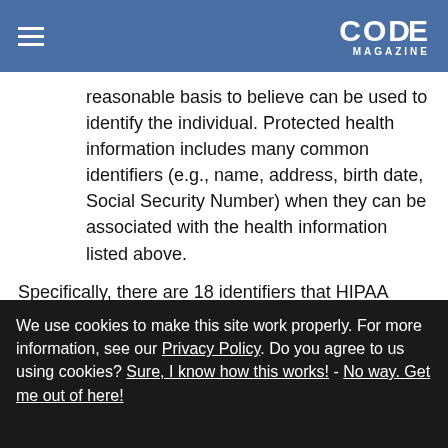CODE MAGAZINE
reasonable basis to believe can be used to identify the individual. Protected health information includes many common identifiers (e.g., name, address, birth date, Social Security Number) when they can be associated with the health information listed above.
Specifically, there are 18 identifiers that HIPAA covers (defined under C.F.R. § 164.514(b)(2) ):
1. Names
We use cookies to make this site work properly. For more information, see our Privacy Policy. Do you agree to us using cookies? Sure, I know how this works! - No way. Get me out of here!